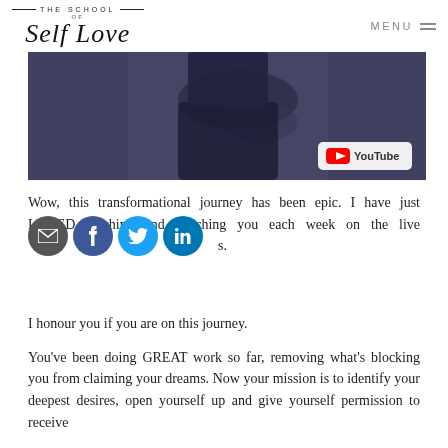THE SCHOOL OF Self Love | MENU
[Figure (photo): Video thumbnail showing a woman in a dark top with her hand on her chest, with a YouTube logo badge in the bottom right corner.]
Wow, this transformational journey has been epic. I have just LOVED teaching and coaching you each week on the live tr...s.
I honour you if you are on this journey.
You've been doing GREAT work so far, removing what's blocking you from claiming your dreams. Now your mission is to identify your deepest desires, open yourself up and give yourself permission to receive